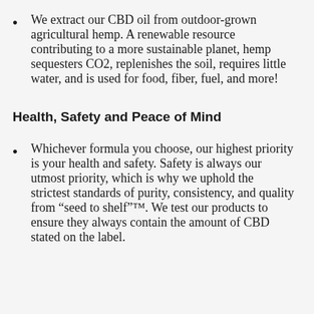We extract our CBD oil from outdoor-grown agricultural hemp. A renewable resource contributing to a more sustainable planet, hemp sequesters CO2, replenishes the soil, requires little water, and is used for food, fiber, fuel, and more!
Health, Safety and Peace of Mind
Whichever formula you choose, our highest priority is your health and safety. Safety is always our utmost priority, which is why we uphold the strictest standards of purity, consistency, and quality from “seed to shelf”™. We test our products to ensure they always contain the amount of CBD stated on the label.